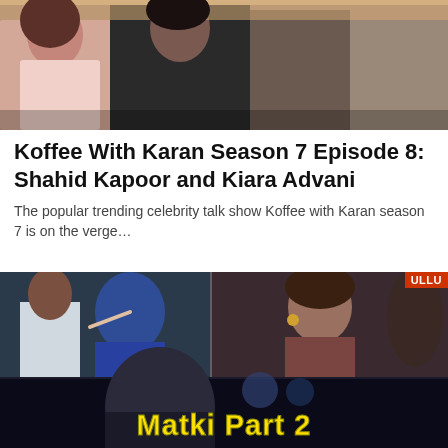[Figure (photo): Top portion of a photo showing Shahid Kapoor and Kiara Advani on Koffee With Karan set, with other guests visible]
Koffee With Karan Season 7 Episode 8: Shahid Kapoor and Kiara Advani
The popular trending celebrity talk show Koffee with Karan season 7 is on the verge…
[Figure (photo): Promotional image collage for Matki Part 2 web series on Ullu platform, showing dramatic scenes with actors in confrontation poses and yellow text reading Matki Part 2 at bottom]